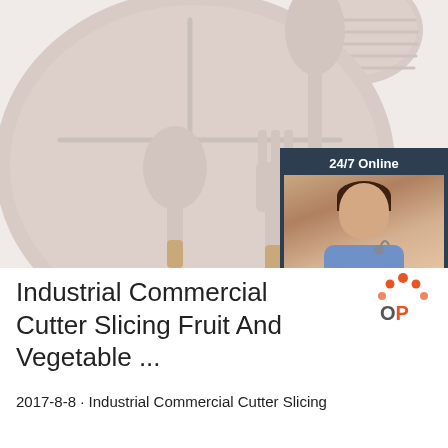[Figure (photo): Photo of a silicone baby dining set with divided plate, bowl, spoon and fork with wooden handles, on white background. Overlaid with a 24/7 online chat widget showing a customer service agent and a QUOTATION button.]
Industrial Commercial Cutter Slicing Fruit And Vegetable ...
2017-8-8 · Industrial Commercial Cutter Slicing